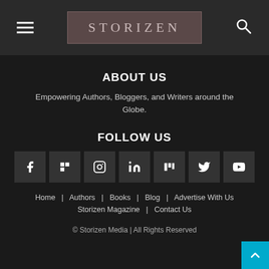STORIZEN
ABOUT US
Empowering Authors, Bloggers, and Writers around the Globe.
FOLLOW US
[Figure (infographic): Row of 7 social media icon boxes: Facebook, Flipboard, Instagram, LinkedIn, Mix, Twitter, YouTube]
Home   Authors   Books   Blog   Advertise With Us   Storizen Magazine   Contact Us
© Storizen Media | All Rights Reserved